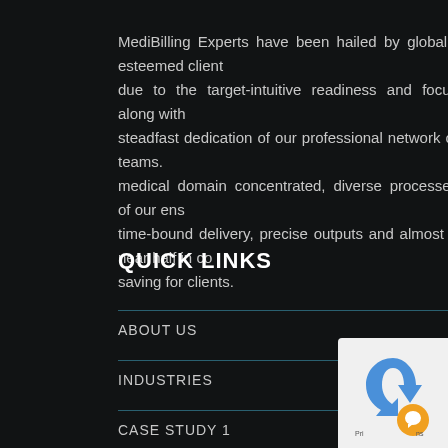MediBilling Experts have been hailed by globally esteemed clients due to the target-intuitive readiness and focus along with steadfast dedication of our professional network of teams. The medical domain concentrated, diverse processes of our ensure time-bound delivery, precise outputs and almost a near half in cost saving for clients.
QUICK LINKS
ABOUT US
INDUSTRIES
CASE STUDY 1